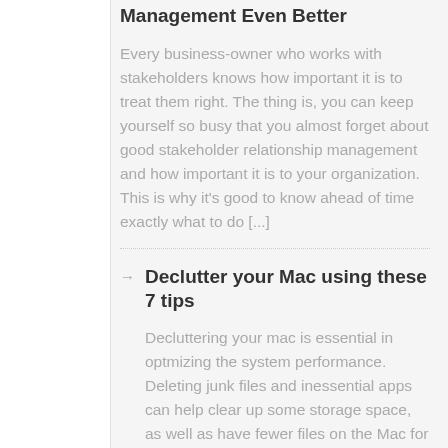Management Even Better
Every business-owner who works with stakeholders knows how important it is to treat them right. The thing is, you can keep yourself so busy that you almost forget about good stakeholder relationship management and how important it is to your organization. This is why it's good to know ahead of time exactly what to do [...]
Declutter your Mac using these 7 tips
Decluttering your mac is essential in optmizing the system performance. Deleting junk files and inessential apps can help clear up some storage space, as well as have fewer files on the Mac for the